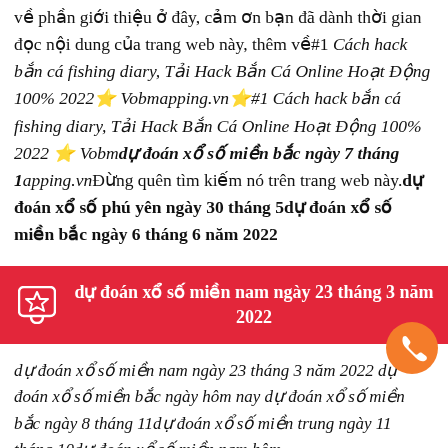về phần giới thiệu ở đây, cảm ơn bạn đã dành thời gian đọc nội dung của trang web này, thêm về#1 Cách hack bắn cá fishing diary, Tải Hack Bắn Cá Online Hoạt Động 100% 2022⭐ Vobmapping.vn⭐#1 Cách hack bắn cá fishing diary, Tải Hack Bắn Cá Online Hoạt Động 100% 2022 ⭐ Vobmdự đoán xổ số miền bắc ngày 7 tháng 1apping.vnĐừng quên tìm kiếm nó trên trang web này.dự đoán xổ số phú yên ngày 30 tháng 5dự đoán xổ số miền bắc ngày 6 tháng 6 năm 2022
dự đoán xổ số miền nam ngày 23 tháng 3 năm 2022
dự đoán xổ số miền nam ngày 23 tháng 3 năm 2022 dự đoán xổ số miền bắc ngày hôm nay dự đoán xổ số miền bắc ngày 8 tháng 11dự đoán xổ số miền trung ngày 11 tháng 10dự đoán xổ số miền nam hôm